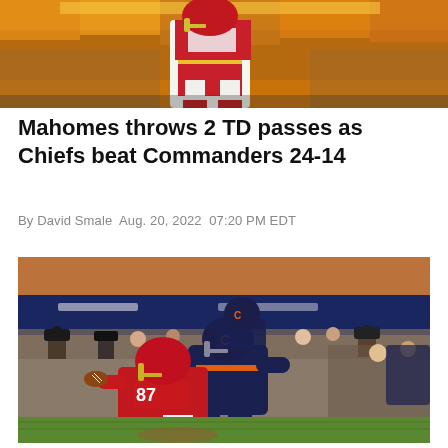[Figure (photo): Top portion of a football game photo showing a player in a red Kansas City Chiefs uniform running, with yellow and orange crowd in background]
Mahomes throws 2 TD passes as Chiefs beat Commanders 24-14
By David Smale Aug. 20, 2022 07:20 PM EDT
[Figure (photo): A Kansas City Chiefs player in red helmet being tackled by a Chicago Bears player in dark navy uniform on a football field, with photographers and crowd in background]